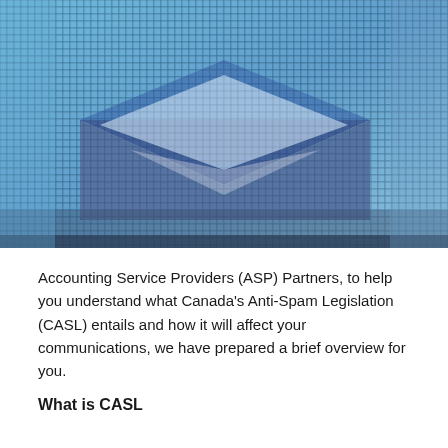[Figure (photo): Close-up macro photo of a pixelated/LED screen showing an email envelope icon in blue and white tones, resembling a digital display grid.]
Accounting Service Providers (ASP) Partners, to help you understand what Canada's Anti-Spam Legislation (CASL) entails and how it will affect your communications, we have prepared a brief overview for you.
What is CASL